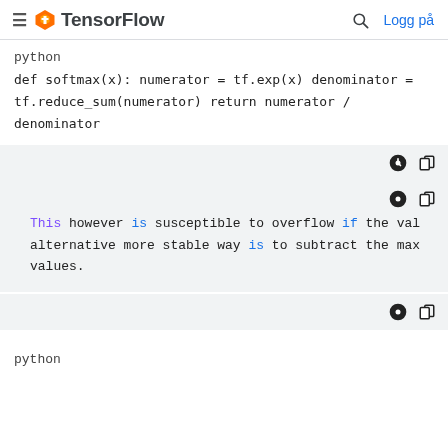TensorFlow — Logg på
python
def softmax(x): numerator = tf.exp(x) denominator = tf.reduce_sum(numerator) return numerator / denominator
This however is susceptible to overflow if the val alternative more stable way is to subtract the max values.
python